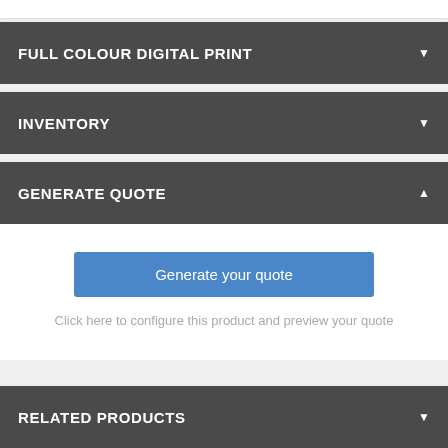FULL COLOUR DIGITAL PRINT
INVENTORY
GENERATE QUOTE
Generate your quote
Click here to configure this product and preview your quote
RELATED PRODUCTS